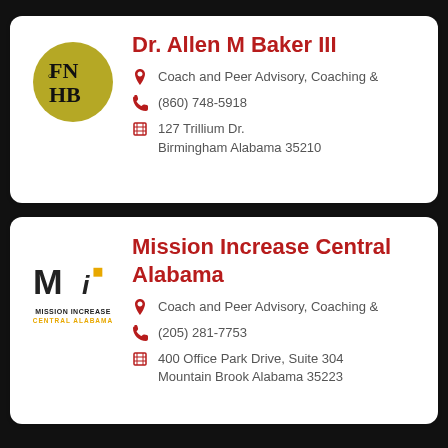Dr. Allen M Baker III
Coach and Peer Advisory, Coaching &
(860) 748-5918
127 Trillium Dr. Birmingham Alabama 35210
Mission Increase Central Alabama
Coach and Peer Advisory, Coaching &
(205) 281-7753
400 Office Park Drive, Suite 304 Mountain Brook Alabama 35223